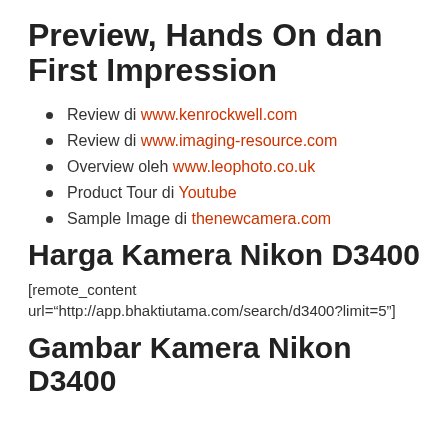Preview, Hands On dan First Impression
Review di www.kenrockwell.com
Review di www.imaging-resource.com
Overview oleh www.leophoto.co.uk
Product Tour di Youtube
Sample Image di thenewcamera.com
Harga Kamera Nikon D3400
[remote_content url="http://app.bhaktiutama.com/search/d3400?limit=5"]
Gambar Kamera Nikon D3400